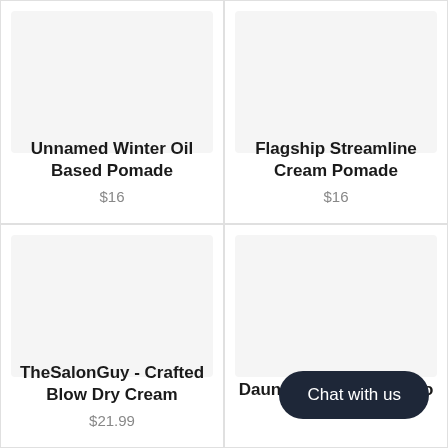Unnamed Winter Oil Based Pomade
$16
Flagship Streamline Cream Pomade
$16
[Figure (photo): Product image placeholder (light gray rectangle)]
TheSalonGuy - Crafted Blow Dry Cream
$21.99
[Figure (photo): Product image placeholder (light gray rectangle)]
Dauntless Grooming Co -
Chat with us